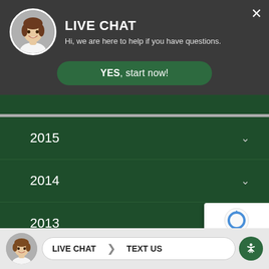[Figure (screenshot): Live chat overlay on a website showing a woman avatar, 'LIVE CHAT' heading, subtitle text, YES button, and a list of years (2015, 2014, 2013, 2012, 2011, 2008) as accordion items on a dark green background. A reCAPTCHA badge is visible in the bottom right. A bottom bar shows another avatar, LIVE CHAT and TEXT US buttons, and an accessibility icon.]